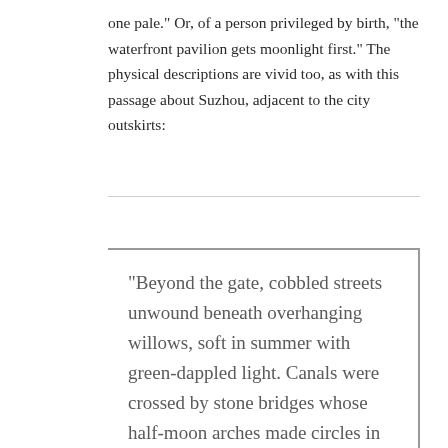one pale.” Or, of a person privileged by birth, “the waterfront pavilion gets moonlight first.” The physical descriptions are vivid too, as with this passage about Suzhou, adjacent to the city outskirts:
“Beyond the gate, cobbled streets unwound beneath overhanging willows, soft in summer with green-dappled light. Canals were crossed by stone bridges whose half-moon arches made circles in the water. From the ponds and